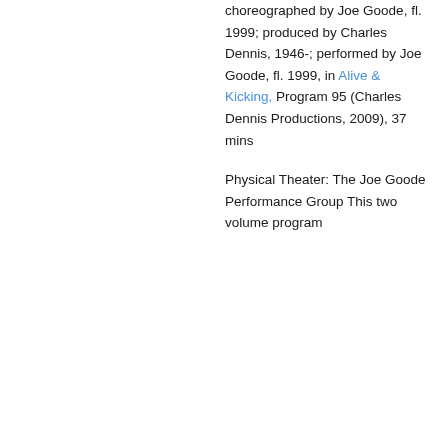choreographed by Joe Goode, fl. 1999; produced by Charles Dennis, 1946-; performed by Joe Goode, fl. 1999, in Alive & Kicking, Program 95 (Charles Dennis Productions, 2009), 37 mins
Physical Theater: The Joe Goode Performance Group This two volume program